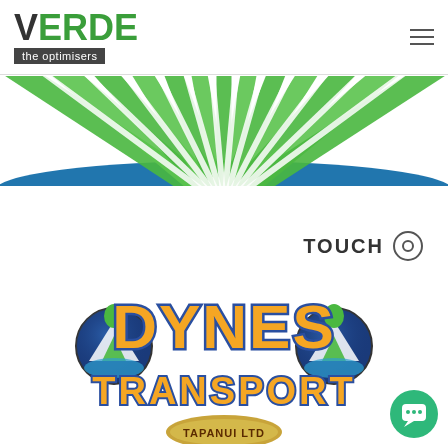[Figure (logo): Verde 'the optimisers' logo in top left header area, with green ERDE letters and dark grey V, subtitle on dark background]
[Figure (illustration): Green fan/wheat radial graphic spanning top width of page below header]
[Figure (logo): TOUCH text with circle target icon in grey, positioned right-center of page]
[Figure (logo): Dynes Transport Tapanui Ltd logo with blue/yellow lettering and mountain globe emblems on either side]
[Figure (illustration): Green circular chat button in bottom right corner]